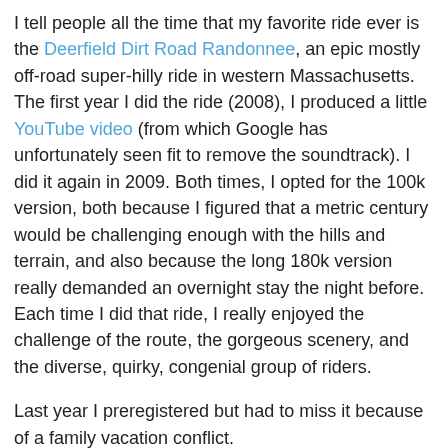I tell people all the time that my favorite ride ever is the Deerfield Dirt Road Randonnee, an epic mostly off-road super-hilly ride in western Massachusetts. The first year I did the ride (2008), I produced a little YouTube video (from which Google has unfortunately seen fit to remove the soundtrack). I did it again in 2009. Both times, I opted for the 100k version, both because I figured that a metric century would be challenging enough with the hills and terrain, and also because the long 180k version really demanded an overnight stay the night before. Each time I did that ride, I really enjoyed the challenge of the route, the gorgeous scenery, and the diverse, quirky, congenial group of riders.
Last year I preregistered but had to miss it because of a family vacation conflict.
So this year, I started planning early and rather ambitiously registered for the new 115k route. Only 15% more distance than the shorter route - but it seemed twice as difficult! It was all about the climbing: this ride had over 9000 feet of climbing, including lots of long dirt-road climbs of over 15% grade and some in excess of 20%! Geez.